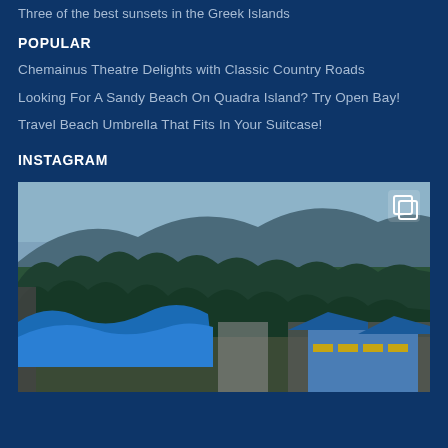Three of the best sunsets in the Greek Islands
POPULAR
Chemainus Theatre Delights with Classic Country Roads
Looking For A Sandy Beach On Quadra Island? Try Open Bay!
Travel Beach Umbrella That Fits In Your Suitcase!
INSTAGRAM
[Figure (photo): Aerial view of a water park with a large blue waterslide in the foreground, dense evergreen forest and mountain in the background, with park buildings and blue roofs on the right side.]